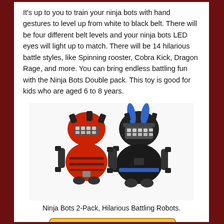It's up to you to train your ninja bots with hand gestures to level up from white to black belt. There will be four different belt levels and your ninja bots LED eyes will light up to match. There will be 14 hilarious battle styles, like Spinning rooster, Cobra Kick, Dragon Rage, and more. You can bring endless battling fun with the Ninja Bots Double pack. This toy is good for kids who are aged 6 to 8 years.
[Figure (photo): Two ninja battle robots side by side — a red one on the left and a black one with blue accents on the right. Both have LED eye panels, arm appendages, and wheels.]
Ninja Bots 2-Pack, Hilarious Battling Robots.
[Figure (other): Buy Now button with yellow/gold gradient background and dark brown italic bold text reading 'Buy Now']